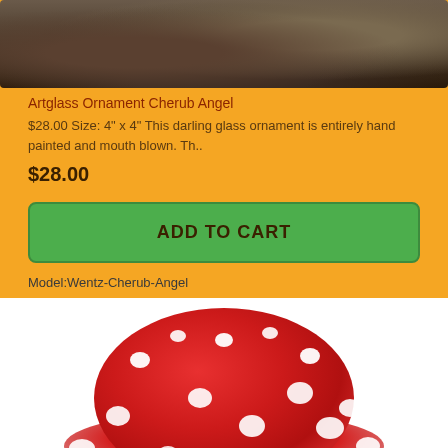[Figure (photo): Close-up photo of bark or stone with rough textured surface in brown and gray tones]
Artglass Ornament Cherub Angel
$28.00 Size: 4" x 4" This darling glass ornament is entirely hand painted and mouth blown. Th..
$28.00
ADD TO CART
Model:Wentz-Cherub-Angel
[Figure (photo): Red and white decorative mushroom ornament with white polka dots on a red domed cap, fading to white at the edges, on a white stem, against a white background]